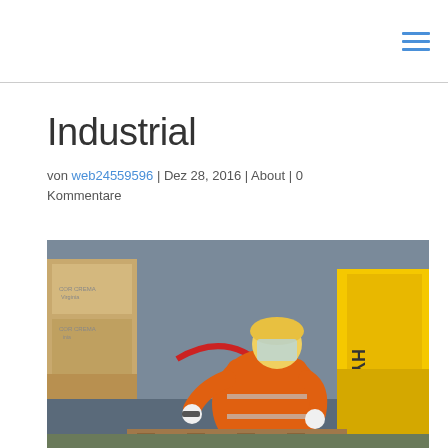Industrial
von web24559596 | Dez 28, 2016 | About | 0 Kommentare
[Figure (photo): Industrial worker in orange protective suit and yellow safety helmet with face shield, working on wooden pallet in a warehouse with a yellow Hyster forklift and cardboard boxes in the background.]